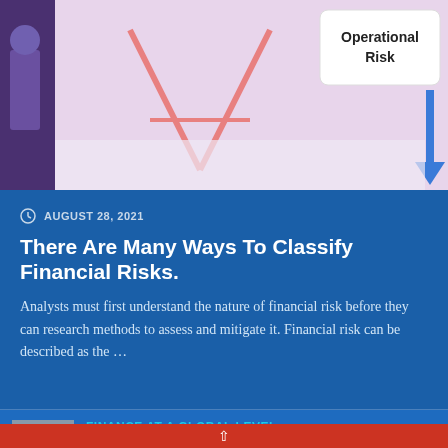[Figure (illustration): Partial view of an infographic about financial risk types, showing a pink/lavender background with illustrated figures and a box labeled 'Operational Risk' with a blue downward arrow]
AUGUST 28, 2021
There Are Many Ways To Classify Financial Risks.
Analysts must first understand the nature of financial risk before they can research methods to assess and mitigate it. Financial risk can be described as the ...
FINANCE AT A GLOBAL LEVEL
AUGUST 27, 2021